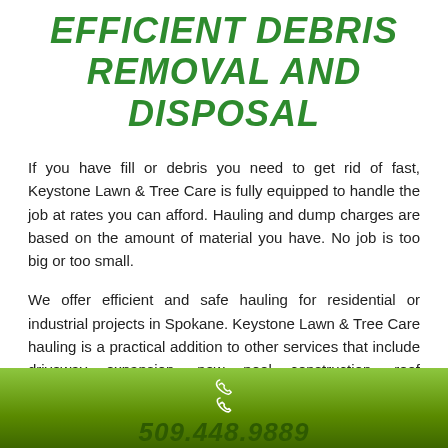EFFICIENT DEBRIS REMOVAL AND DISPOSAL
If you have fill or debris you need to get rid of fast, Keystone Lawn & Tree Care is fully equipped to handle the job at rates you can afford. Hauling and dump charges are based on the amount of material you have. No job is too big or too small.
We offer efficient and safe hauling for residential or industrial projects in Spokane. Keystone Lawn & Tree Care hauling is a practical addition to other services that include driveway expansion, new pool construction, roof installation, ground levelling or any construction project where efficient and fast property clearing is required.
phone icon and phone number